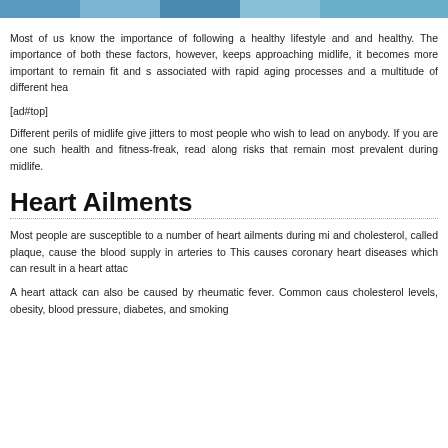[Figure (photo): Cropped top of a photo showing people, likely related to health and lifestyle]
Most of us know the importance of following a healthy lifestyle and and healthy. The importance of both these factors, however, keeps approaching midlife, it becomes more important to remain fit and s associated with rapid aging processes and a multitude of different hea
[ad#top]
Different perils of midlife give jitters to most people who wish to lead on anybody. If you are one such health and fitness-freak, read along risks that remain most prevalent during midlife.
Heart Ailments
Most people are susceptible to a number of heart ailments during mi and cholesterol, called plaque, cause the blood supply in arteries to This causes coronary heart diseases which can result in a heart attac
A heart attack can also be caused by rheumatic fever. Common caus cholesterol levels, obesity, blood pressure, diabetes, and smoking